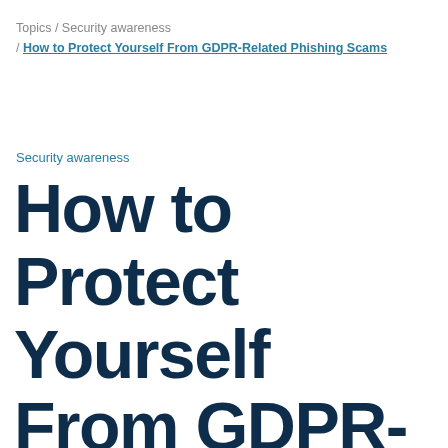Topics / Security awareness / How to Protect Yourself From GDPR-Related Phishing Scams
Security awareness
How to Protect Yourself From GDPR-Related Phishing Scams